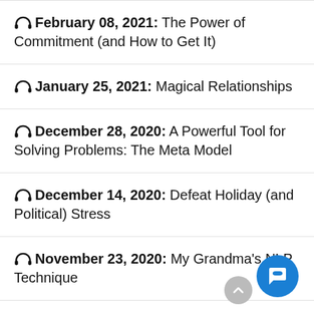🎧 February 08, 2021: The Power of Commitment (and How to Get It)
🎧 January 25, 2021: Magical Relationships
🎧 December 28, 2020: A Powerful Tool for Solving Problems: The Meta Model
🎧 December 14, 2020: Defeat Holiday (and Political) Stress
🎧 November 23, 2020: My Grandma's NLP Technique
🎧 November 09, 2020: How to Be Even